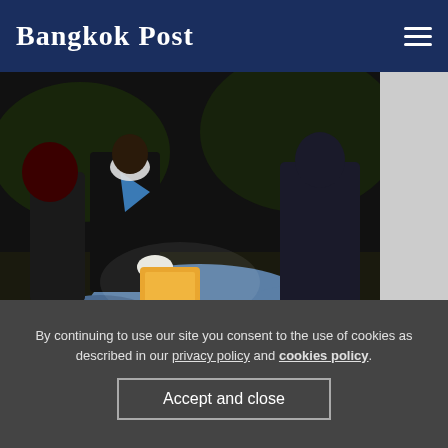Bangkok Post
[Figure (photo): Rangers inspecting seized drug packages at night; person wearing scout/ranger uniform with blue neckerchief and gloves examining yellow packages amid blue bags]
Rangers arrest 2 men, seize 3m meth pills after pursuit
Pop For
By continuing to use our site you consent to the use of cookies as described in our privacy policy and cookies policy.
Accept and close